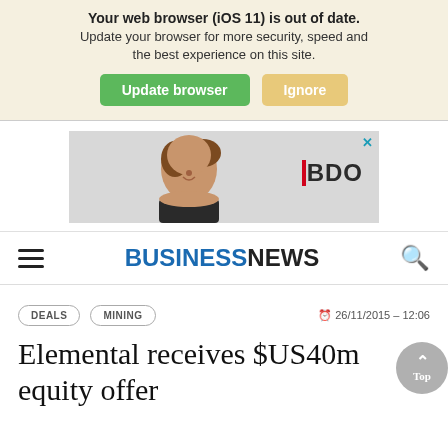Your web browser (iOS 11) is out of date. Update your browser for more security, speed and the best experience on this site.
Update browser | Ignore
[Figure (photo): Advertisement banner featuring a woman smiling with BDO logo]
BUSINESSNEWS
DEALS   MINING   26/11/2015 - 12:06
Elemental receives $US40m equity offer